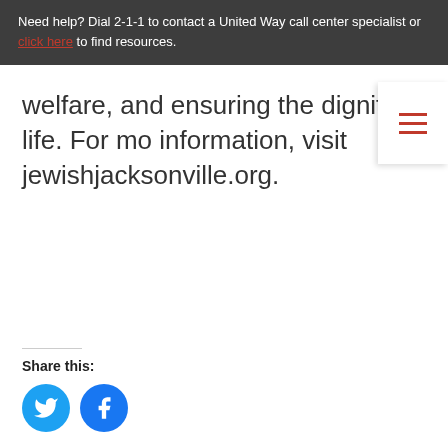Need help? Dial 2-1-1 to contact a United Way call center specialist or click here to find resources.
welfare, and ensuring the dignity of life. For mo information, visit jewishjacksonville.org.
Share this: